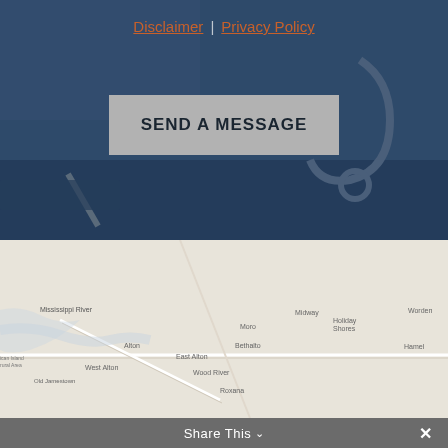Disclaimer | Privacy Policy
SEND A MESSAGE
[Figure (map): Google Maps view showing towns including Alton, East Alton, West Alton, Wood River, Roxana, Bethalto, Moro, Midway, Holiday Shores, Worden, and Hamel in Illinois area along the Mississippi River.]
Share This ∨  ✕